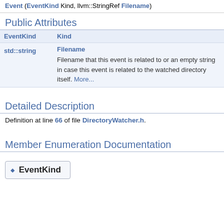Event (EventKind Kind, llvm::StringRef Filename)
Public Attributes
|  |  |
| --- | --- |
| EventKind | Kind |
| std::string | Filename
Filename that this event is related to or an empty string in case this event is related to the watched directory itself. More... |
Detailed Description
Definition at line 66 of file DirectoryWatcher.h.
Member Enumeration Documentation
◆ EventKind